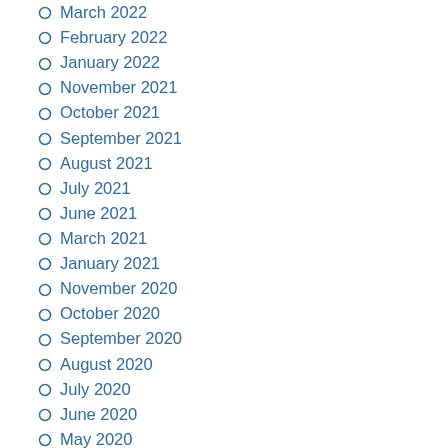March 2022
February 2022
January 2022
November 2021
October 2021
September 2021
August 2021
July 2021
June 2021
March 2021
January 2021
November 2020
October 2020
September 2020
August 2020
July 2020
June 2020
May 2020
April 2020
March 2020